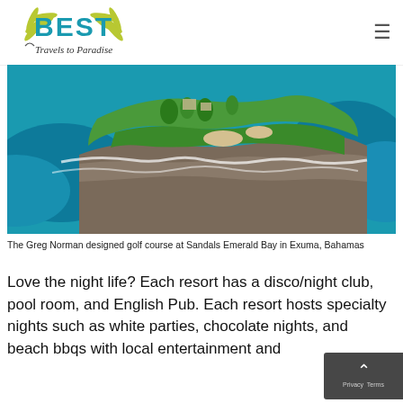[Figure (logo): Best Travels to Paradise logo with teal BEST text and palm fronds]
[Figure (photo): Aerial view of Greg Norman designed golf course at Sandals Emerald Bay in Exuma, Bahamas, surrounded by turquoise ocean water]
The Greg Norman designed golf course at Sandals Emerald Bay in Exuma, Bahamas
Love the night life? Each resort has a disco/night club, pool room, and English Pub. Each resort hosts specialty nights such as white parties, chocolate nights, and beach bbqs with local entertainment and...